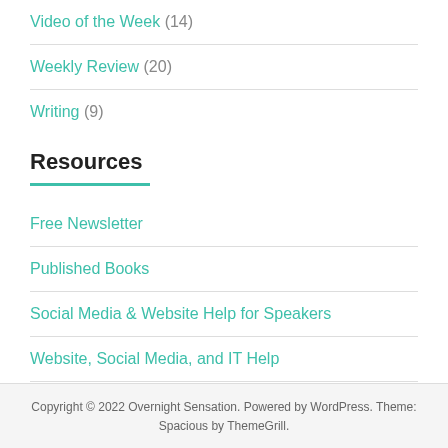Video of the Week (14)
Weekly Review (20)
Writing (9)
Resources
Free Newsletter
Published Books
Social Media & Website Help for Speakers
Website, Social Media, and IT Help
Copyright © 2022 Overnight Sensation. Powered by WordPress. Theme: Spacious by ThemeGrill.